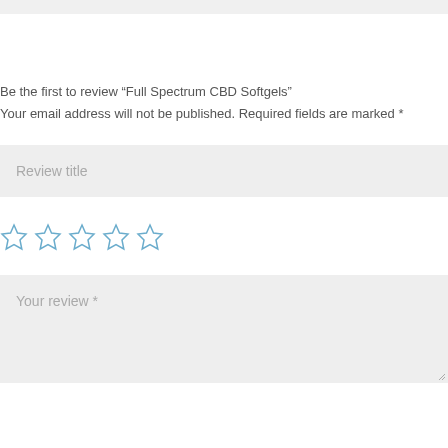Be the first to review “Full Spectrum CBD Softgels”
Your email address will not be published. Required fields are marked *
Review title
[Figure (other): Five empty star rating icons in blue outline style]
Your review *